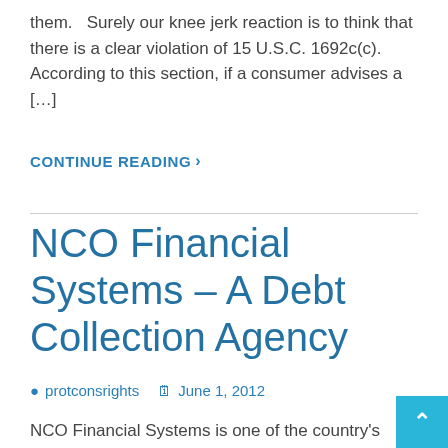them.   Surely our knee jerk reaction is to think that there is a clear violation of 15 U.S.C. 1692c(c). According to this section, if a consumer advises a [...]
CONTINUE READING >
NCO Financial Systems – A Debt Collection Agency
protconsrights   June 1, 2012
NCO Financial Systems is one of the country's